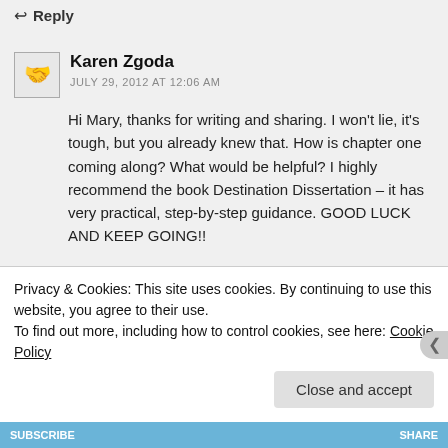↩ Reply
Karen Zgoda
JULY 29, 2012 AT 12:06 AM
Hi Mary, thanks for writing and sharing. I won't lie, it's tough, but you already knew that. How is chapter one coming along? What would be helpful? I highly recommend the book Destination Dissertation – it has very practical, step-by-step guidance. GOOD LUCK AND KEEP GOING!!
Privacy & Cookies: This site uses cookies. By continuing to use this website, you agree to their use.
To find out more, including how to control cookies, see here: Cookie Policy
Close and accept